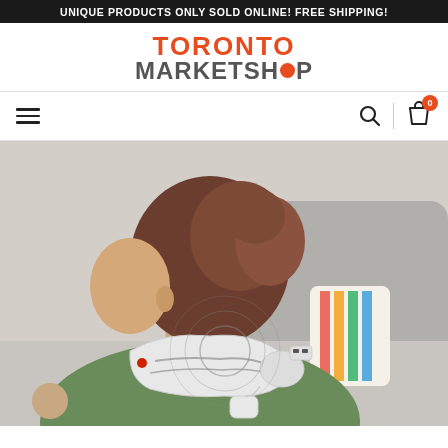UNIQUE PRODUCTS ONLY SOLD ONLINE! FREE SHIPPING!
[Figure (logo): Toronto MarketShop logo with orange text for TORONTO and grey text for MARKETSHOP, with a circular orange dot replacing the O in SHOP]
[Figure (screenshot): Navigation bar with hamburger menu on left, search icon and shopping cart with badge showing 0 on right]
[Figure (photo): Woman wearing a white neck massager device while sitting on a couch, viewed from behind, wearing a green top, with vibration wave graphics overlaid on the device]